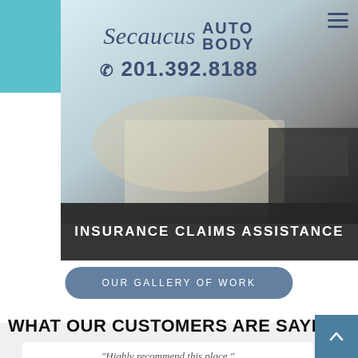[Figure (screenshot): Secaucus Auto Body website header with teal background, logo, phone number 201.392.8188, and hamburger menu icon]
[Figure (photo): Background photo of a car and paperwork, partially visible behind header]
INSURANCE CLAIMS ASSISTANCE
OUR GALLERY OF WORK
WHAT OUR CUSTOMERS ARE SAYING
"Highly recommend this place."